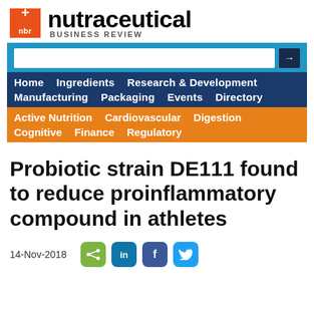[Figure (logo): Nutraceutical Business Review logo with orange plus sign and 'nbr' box]
[Figure (screenshot): Website navigation bar with search field, main nav links (Home, Ingredients, Research & Development, Manufacturing, Packaging, Events, Directory) on dark blue background, and sub-nav links (Active Nutrition, Cardiovascular, Digestion, Cognitive, Finance, Regulatory) on orange background]
Probiotic strain DE111 found to reduce proinflammatory compound in athletes
14-Nov-2018